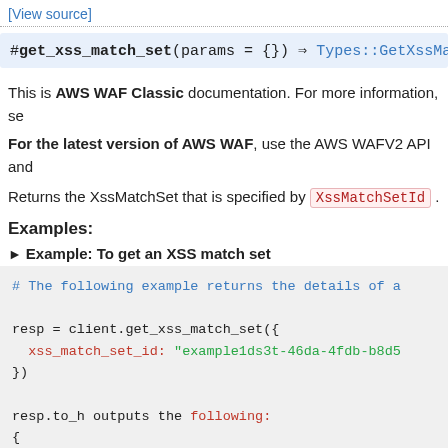[View source]
#get_xss_match_set(params = {}) ⇒ Types::GetXssMatchSetResponse
This is AWS WAF Classic documentation. For more information, see
For the latest version of AWS WAF, use the AWS WAFV2 API and
Returns the XssMatchSet that is specified by XssMatchSetId .
Examples:
► Example: To get an XSS match set
# The following example returns the details of a
resp = client.get_xss_match_set({
  xss_match_set_id: "example1ds3t-46da-4fdb-b8d5"
})

resp.to_h outputs the following:
{